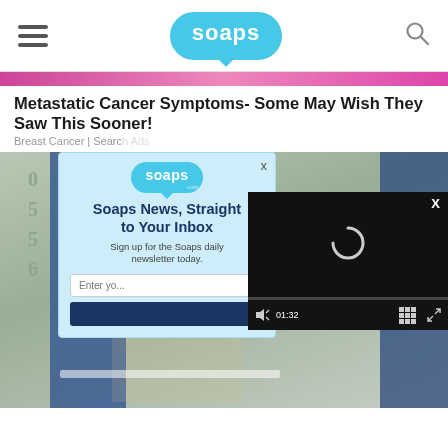soaps (navigation bar with hamburger menu, soaps.com logo, and search icon)
Metastatic Cancer Symptoms- Some May Wish They Saw This Sooner!
Breast Cancer | Search Ads
[Figure (screenshot): Popup newsletter modal on top of a house/front porch photo with a woman. The popup shows the Soaps.com logo, headline 'Soaps News, Straight to Your Inbox', subtext 'Sign up for the Soaps daily newsletter today.', an email input field, and a subscribe button. A video player overlay is visible in the bottom right with a loading spinner and timestamp 01:32.]